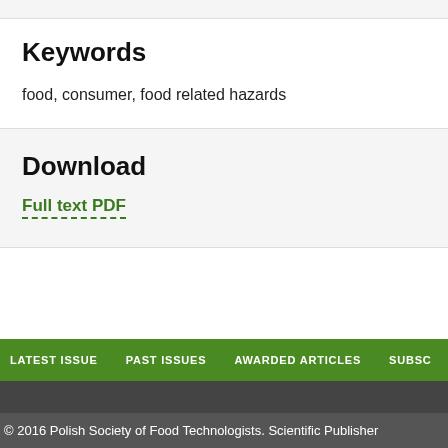Keywords
food, consumer, food related hazards
Download
Full text PDF
LATEST ISSUE   PAST ISSUES   AWARDED ARTICLES   SUBSC
© 2016 Polish Society of Food Technologists. Scientific Publisher